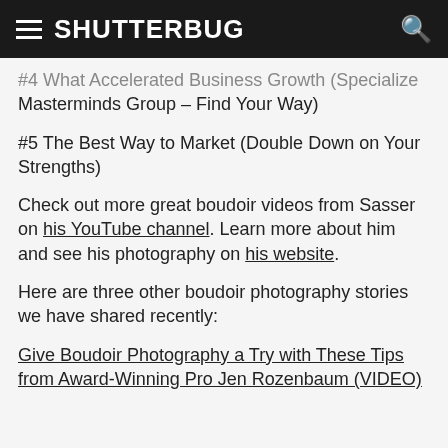SHUTTERBUG
#4 What Accelerated Business Growth (Specialize Masterminds Group – Find Your Way)
#5 The Best Way to Market (Double Down on Your Strengths)
Check out more great boudoir videos from Sasser on his YouTube channel. Learn more about him and see his photography on his website.
Here are three other boudoir photography stories we have shared recently:
Give Boudoir Photography a Try with These Tips from Award-Winning Pro Jen Rozenbaum (VIDEO)